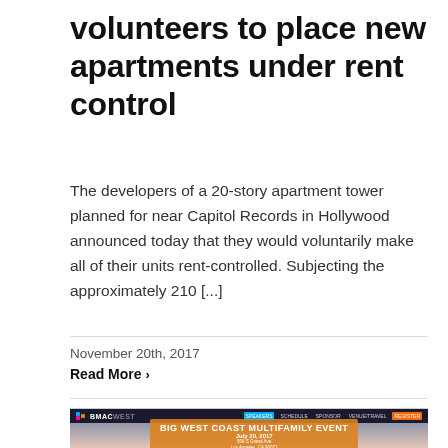volunteers to place new apartments under rent control
The developers of a 20-story apartment tower planned for near Capitol Records in Hollywood announced today that they would voluntarily make all of their units rent-controlled. Subjecting the approximately 210 [...]
November 20th, 2017
Read More >
[Figure (screenshot): BMAC West conference website screenshot showing navigation bar with Speakers, Schedule, Sponsor, Venue/Travel, and Register links, and a banner with orange box reading 'BIG WEST COAST MULTIFAMILY EVENT July 20, 2017, 506 S Grand Ave, Los Angeles, CA 90071' over a sunset sky background.]